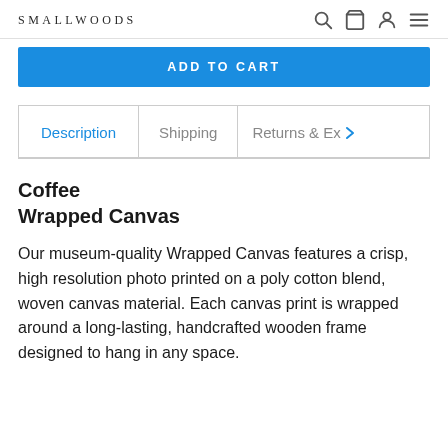SMALLWOODS
ADD TO CART
Description | Shipping | Returns & Ex >
Coffee
Wrapped Canvas
Our museum-quality Wrapped Canvas features a crisp, high resolution photo printed on a poly cotton blend, woven canvas material. Each canvas print is wrapped around a long-lasting, handcrafted wooden frame designed to hang in any space.